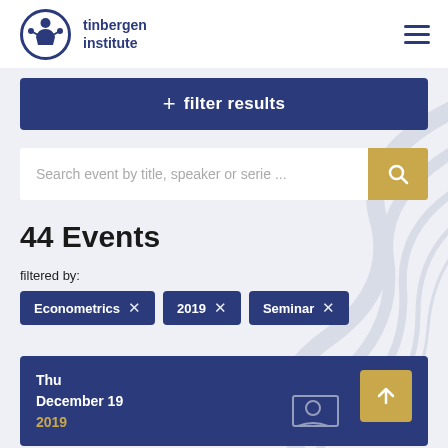tinbergen institute
+ filter results
Search event by title, speaker or serie ...
44 Events
filtered by:
Econometrics ×
2019 ×
Seminar ×
Thu
December 19
2019